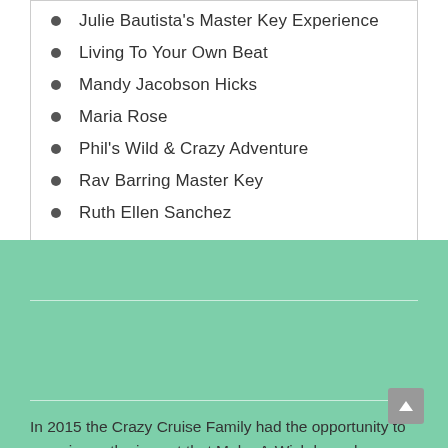Julie Bautista's Master Key Experience
Living To Your Own Beat
Mandy Jacobson Hicks
Maria Rose
Phil's Wild & Crazy Adventure
Rav Barring Master Key
Ruth Ellen Sanchez
In 2015 the Crazy Cruise Family had the opportunity to experience the impact that Make-A-Wish has when our son Aiden's wish was granted.  As an alumni family we're giving back by helping to spread the hope & joy of granted MAW wish!